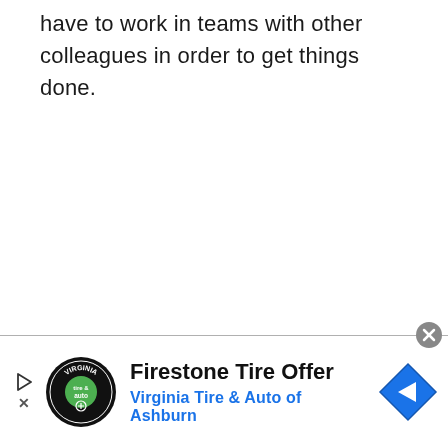have to work in teams with other colleagues in order to get things done.
[Figure (other): Advertisement banner for Firestone Tire Offer by Virginia Tire & Auto of Ashburn, featuring a circular black logo with 'tire & auto' text, a blue navigation diamond icon with arrow, play and close icons on the left, and a close circle button at top right.]